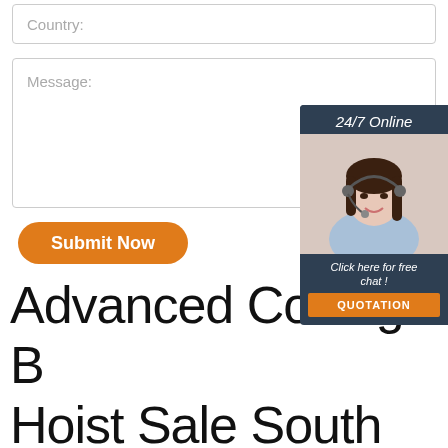Country:
Message:
Submit Now
Advanced Coffing B… Hoist Sale South Africa
[Figure (illustration): Customer service chat widget with 24/7 Online label, photo of woman with headset, 'Click here for free chat!' text, and QUOTATION button]